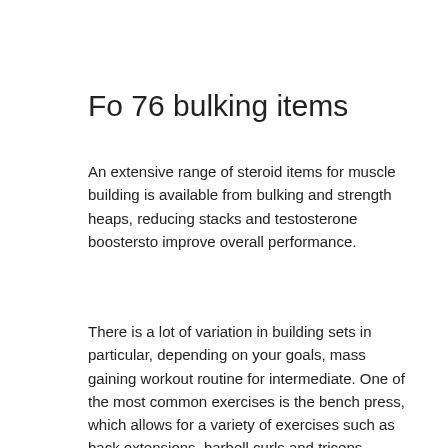Fo 76 bulking items
An extensive range of steroid items for muscle building is available from bulking and strength heaps, reducing stacks and testosterone boostersto improve overall performance.
There is a lot of variation in building sets in particular, depending on your goals, mass gaining workout routine for intermediate. One of the most common exercises is the bench press, which allows for a variety of exercises such as back extensions, barbell curls and triceps extensions. Depending on the strength and muscle mass you desire you can start off with a combination of exercises, work your way into a full